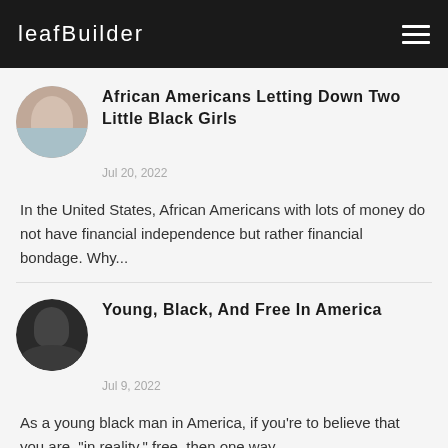leafBuilder
African Americans Letting Down Two Little Black Girls
Jul 20, 2022
In the United States, African Americans with lots of money do not have financial independence but rather financial bondage. Why...
Young, Black, And Free In America
Jul 9, 2022
As a young black man in America, if you're to believe that you are, "in reality," free, then one way...